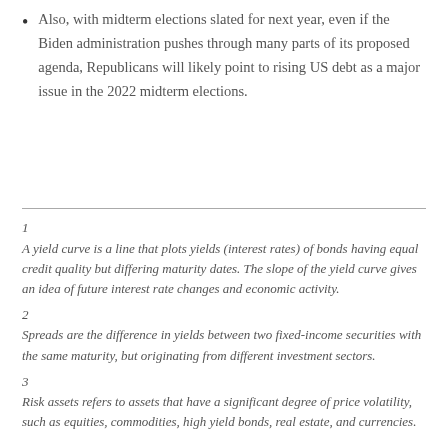Also, with midterm elections slated for next year, even if the Biden administration pushes through many parts of its proposed agenda, Republicans will likely point to rising US debt as a major issue in the 2022 midterm elections.
1 A yield curve is a line that plots yields (interest rates) of bonds having equal credit quality but differing maturity dates. The slope of the yield curve gives an idea of future interest rate changes and economic activity.
2 Spreads are the difference in yields between two fixed-income securities with the same maturity, but originating from different investment sectors.
3 Risk assets refers to assets that have a significant degree of price volatility, such as equities, commodities, high yield bonds, real estate, and currencies.